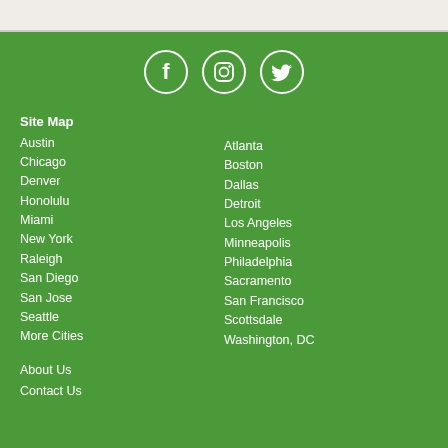[Figure (other): Social media icons: Facebook, Instagram, Twitter in white circles on green background]
Site Map
Austin
Chicago
Denver
Honolulu
Miami
New York
Raleigh
San Diego
San Jose
Seattle
More Cities
Atlanta
Boston
Dallas
Detroit
Los Angeles
Minneapolis
Philadelphia
Sacramento
San Francisco
Scottsdale
Washington, DC
About Us
Contact Us